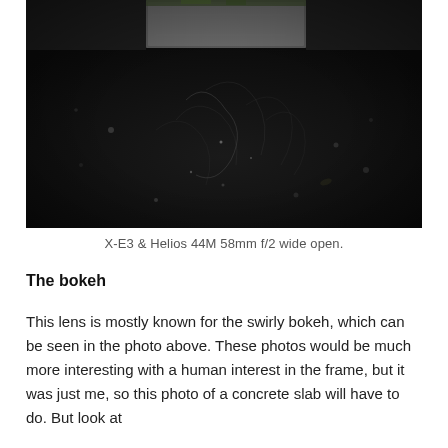[Figure (photo): Close-up photograph taken with X-E3 and Helios 44M 58mm f/2 lens wide open, showing a dark asphalt or concrete surface with a concrete slab or block at the top. The image exhibits characteristic swirly bokeh. The background shows dark textured ground with faint scratch-like lines and small debris visible.]
X-E3 & Helios 44M 58mm f/2 wide open.
The bokeh
This lens is mostly known for the swirly bokeh, which can be seen in the photo above. These photos would be much more interesting with a human interest in the frame, but it was just me, so this photo of a concrete slab will have to do. But look at